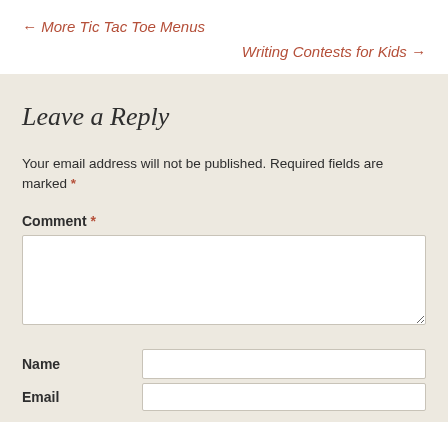← More Tic Tac Toe Menus
Writing Contests for Kids →
Leave a Reply
Your email address will not be published. Required fields are marked *
Comment *
Name
Email